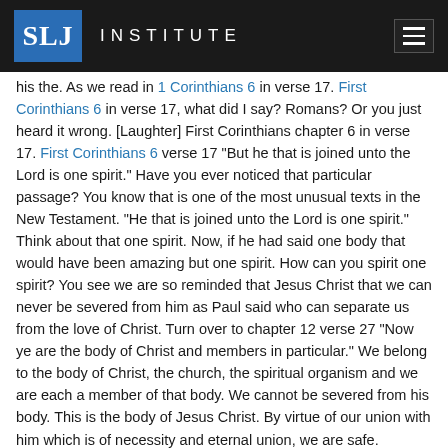SLJ INSTITUTE
his the. As we read in 1 Corinthians 6 in verse 17. First Corinthians 6 in verse 17, what did I say? Romans? Or you just heard it wrong. [Laughter] First Corinthians chapter 6 in verse 17. First Corinthians 6 verse 17 "But he that is joined unto the Lord is one spirit." Have you ever noticed that particular passage? You know that is one of the most unusual texts in the New Testament. "He that is joined unto the Lord is one spirit." Think about that one spirit. Now, if he had said one body that would have been amazing but one spirit. How can you spirit one spirit? You see we are so reminded that Jesus Christ that we can never be severed from him as Paul said who can separate us from the love of Christ. Turn over to chapter 12 verse 27 "Now ye are the body of Christ and members in particular." We belong to the body of Christ, the church, the spiritual organism and we are each a member of that body. We cannot be severed from his body. This is the body of Jesus Christ. By virtue of our union with him which is of necessity and eternal union, we are safe.
Now, that is a logical argument. Capital D – the argument from the